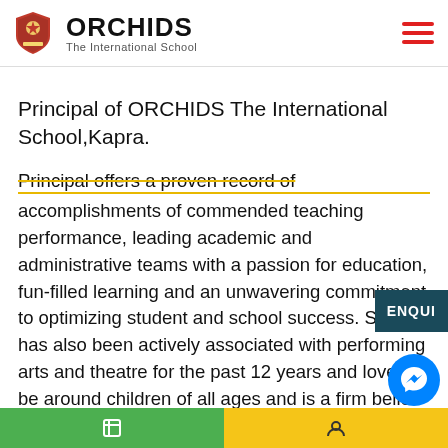ORCHIDS The International School
Principal of ORCHIDS The International School,Kapra.
Principal offers a proven record of accomplishments of commended teaching performance, leading academic and administrative teams with a passion for education, fun-filled learning and an unwavering commitment to optimizing student and school success. She has also been actively associated with performing arts and theatre for the past 12 years and loves to be around children of all ages and is a firm belie